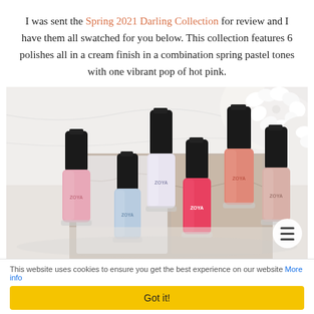I was sent the Spring 2021 Darling Collection for review and I have them all swatched for you below. This collection features 6 polishes all in a cream finish in a combination spring pastel tones with one vibrant pop of hot pink.
[Figure (photo): Six Zoya nail polish bottles in pastel spring colors (pink, light blue, lavender/white, coral/salmon, hot pink/red, and blush/nude) arranged on a marble surface with white hydrangea flowers in the background.]
This website uses cookies to ensure you get the best experience on our website More info
Got it!